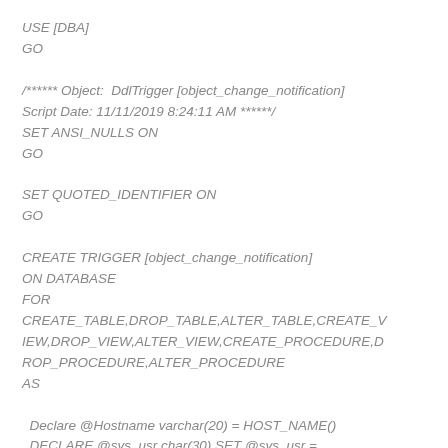USE [DBA]
GO

/****** Object:  DdlTrigger [object_change_notification]
Script Date: 11/11/2019 8:24:11 AM ******/
SET ANSI_NULLS ON
GO

SET QUOTED_IDENTIFIER ON
GO

CREATE TRIGGER [object_change_notification]
ON DATABASE
FOR
CREATE_TABLE,DROP_TABLE,ALTER_TABLE,CREATE_VIEW,DROP_VIEW,ALTER_VIEW,CREATE_PROCEDURE,DROP_PROCEDURE,ALTER_PROCEDURE
AS

  Declare @Hostname varchar(20) = HOST_NAME()
  DECLARE @sys_usr char(30) SET @sys_usr =